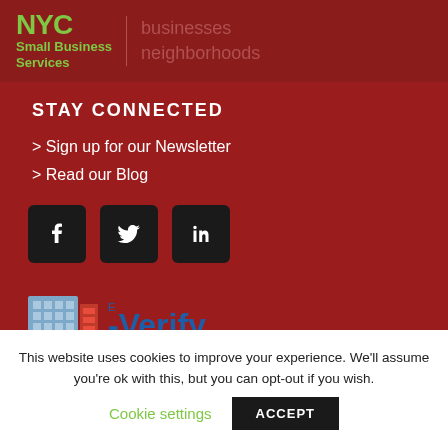[Figure (logo): NYC Small Business Services logo with green text and tagline 'businesses neighborhoods']
STAY CONNECTED
> Sign up for our Newsletter
> Read our Blog
[Figure (logo): Social media icons: Facebook, Twitter, LinkedIn]
[Figure (logo): E-Verify logo]
This website uses cookies to improve your experience. We'll assume you're ok with this, but you can opt-out if you wish.
Cookie settings
ACCEPT